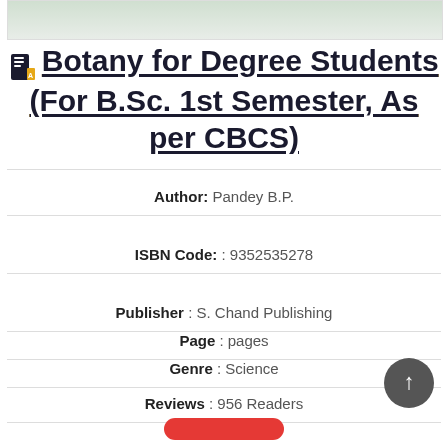[Figure (photo): Partial book cover image faded at top of page]
Botany for Degree Students (For B.Sc. 1st Semester, As per CBCS)
Author: Pandey B.P.
ISBN Code: : 9352535278
Publisher : S. Chand Publishing
Page : pages
Genre : Science
Reviews : 956 Readers